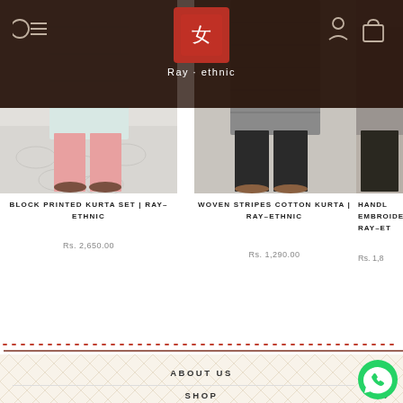Ray-ethnic
[Figure (photo): Product photo: Block Printed Kurta Set, light blue kurta with pink pants, lower half of model visible]
BLOCK PRINTED KURTA SET | RAY–ETHNIC
Rs. 2,650.00
[Figure (photo): Product photo: Woven Stripes Cotton Kurta, grey kurta with black pants, lower half of model visible]
WOVEN STRIPES COTTON KURTA | RAY–ETHNIC
Rs. 1,290.00
[Figure (photo): Partial product photo (cropped): Hand embroidered item, Ray-ethnic, partially visible]
HANDL EMBROIDERE RAY–ET
Rs. 1,8
ABOUT US
SHOP
[Figure (logo): WhatsApp button icon, green circle with white phone/chat icon]